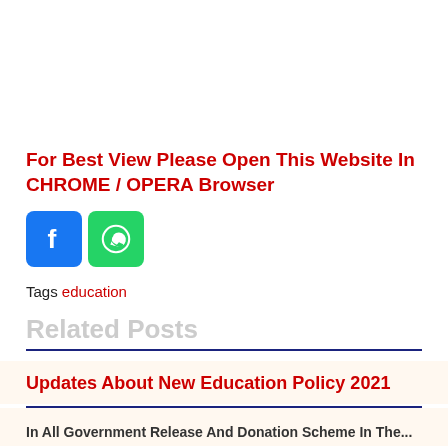For Best View Please Open This Website In CHROME / OPERA Browser
[Figure (other): Facebook and WhatsApp social share icons]
Tags education
Related Posts
Updates About New Education Policy 2021
(partially visible next related post title)